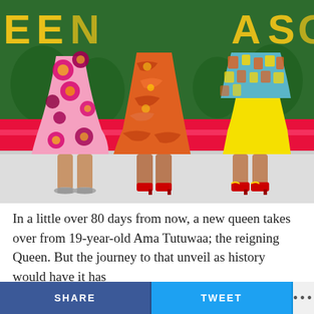[Figure (photo): Photo of three women in colorful African print dresses on a runway/stage. Left woman wears pink/magenta floral Ankara print, middle woman wears orange/red pattern, right woman wears a blue patterned top with yellow skirt. They stand on a white runway with a bright pink backdrop and green background with yellow letters partially visible. Only their lower bodies from waist down are visible.]
In a little over 80 days from now, a new queen takes over from 19-year-old Ama Tutuwaa; the reigning Queen. But the journey to that unveil as history would have it has